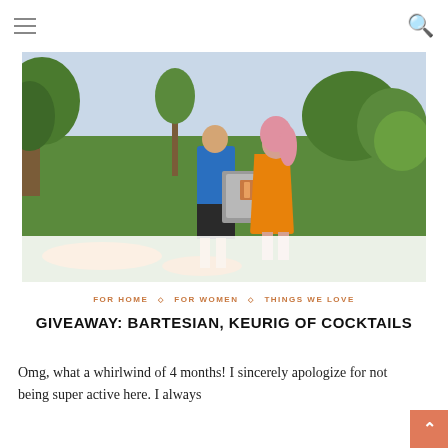≡  🔍
[Figure (photo): A man in a blue polo shirt and dark shorts holds a Bartesian cocktail machine box while standing next to a woman in an orange floral dress with pink hair, both outdoors in a green park setting with trees and orange flowers on the ground.]
FOR HOME  ◇  FOR WOMEN  ◇  THINGS WE LOVE
GIVEAWAY: BARTESIAN, KEURIG OF COCKTAILS
Omg, what a whirlwind of 4 months! I sincerely apologize for not being super active here. I always